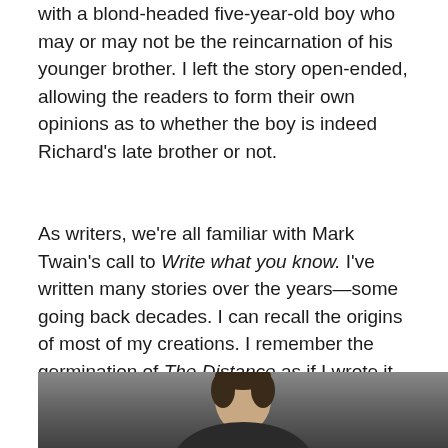with a blond-headed five-year-old boy who may or may not be the reincarnation of his younger brother. I left the story open-ended, allowing the readers to form their own opinions as to whether the boy is indeed Richard's late brother or not.
As writers, we're all familiar with Mark Twain's call to Write what you know. I've written many stories over the years—some going back decades. I can recall the origins of most of my creations. I remember the germination of The Distance as if I wrote it yesterday. But to claim I've only written what I know, well, that would be a lie. I know next to nothing about most of the subjects on which I've written. This is where research becomes vital to us writers.
[Figure (photo): Partial photo showing a person (visible from approximately mid-torso up) against a grey background, bottom portion of page.]